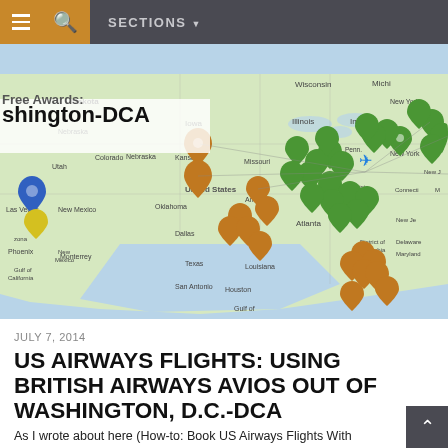SECTIONS
[Figure (map): Interactive US map showing flight routes from Washington D.C.-DCA with green, orange, and blue location markers across the United States. A blue airplane icon is near Washington D.C. with route lines radiating outward.]
shington-DCA
JULY 7, 2014
US AIRWAYS FLIGHTS: USING BRITISH AIRWAYS AVIOS OUT OF WASHINGTON, D.C.-DCA
As I wrote about here (How-to: Book US Airways Flights With British Airways Avios), US Airways officially joined the Oneworld Alliance a